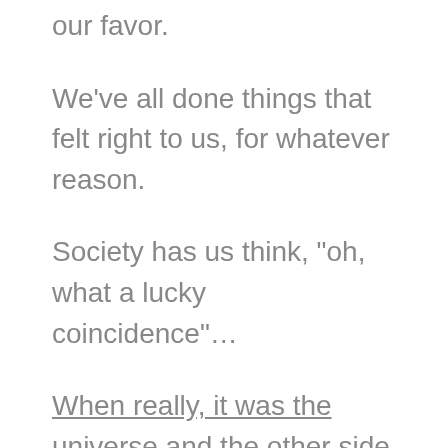our favor.
We’ve all done things that felt right to us, for whatever reason.
Society has us think, “oh, what a lucky coincidence”…
When really, it was the universe and the other side working in our favor.
Of course, life isn’t always easy.